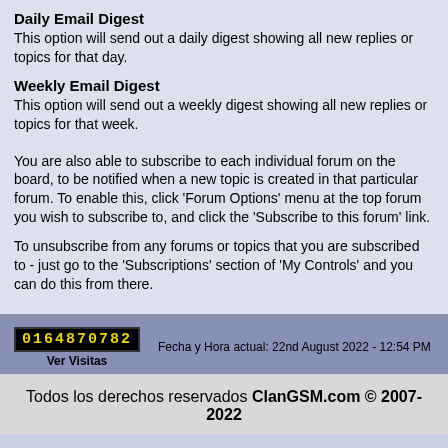Daily Email Digest
This option will send out a daily digest showing all new replies or topics for that day.
Weekly Email Digest
This option will send out a weekly digest showing all new replies or topics for that week.
You are also able to subscribe to each individual forum on the board, to be notified when a new topic is created in that particular forum. To enable this, click 'Forum Options' menu at the top forum you wish to subscribe to, and click the 'Subscribe to this forum' link.
To unsubscribe from any forums or topics that you are subscribed to - just go to the 'Subscriptions' section of 'My Controls' and you can do this from there.
0164870782 Ver Visitas  Fecha y Hora actual: 22nd August 2022 - 12:54 PM
Todos los derechos reservados ClanGSM.com © 2007-2022